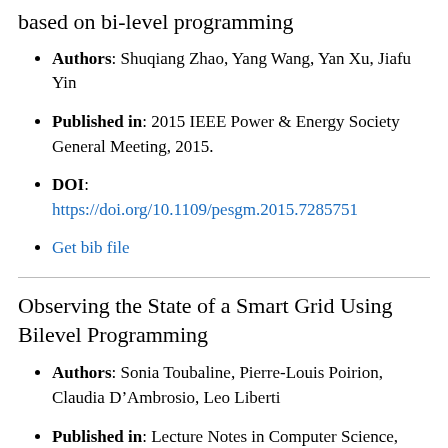based on bi-level programming
Authors: Shuqiang Zhao, Yang Wang, Yan Xu, Jiafu Yin
Published in: 2015 IEEE Power & Energy Society General Meeting, 2015.
DOI: https://doi.org/10.1109/pesgm.2015.7285751
Get bib file
Observing the State of a Smart Grid Using Bilevel Programming
Authors: Sonia Toubaline, Pierre-Louis Poirion, Claudia D’Ambrosio, Leo Liberti
Published in: Lecture Notes in Computer Science, 364–376, 2015.